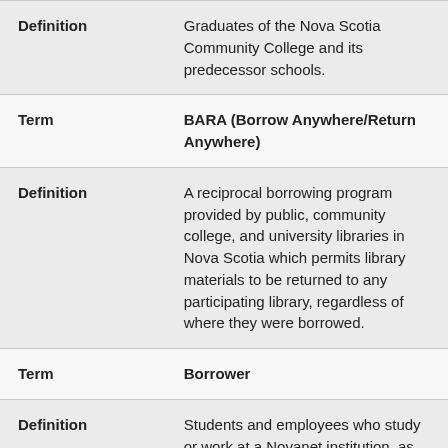|  |  |
| --- | --- |
| Definition | Graduates of the Nova Scotia Community College and its predecessor schools. |
| Term | BARA (Borrow Anywhere/Return Anywhere) |
| Definition | A reciprocal borrowing program provided by public, community college, and university libraries in Nova Scotia which permits library materials to be returned to any participating library, regardless of where they were borrowed. |
| Term | Borrower |
| Definition | Students and employees who study or work at a Novanet institution, as well as alumni, community and CURBA |